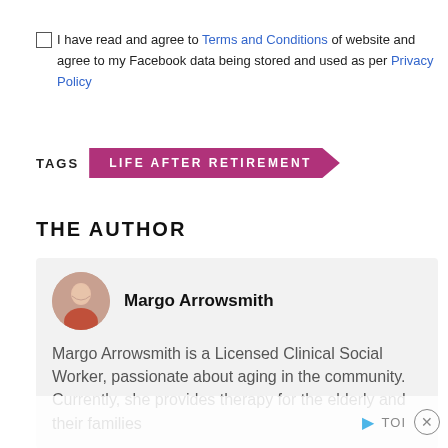I have read and agree to Terms and Conditions of website and agree to my Facebook data being stored and used as per Privacy Policy
TAGS   LIFE AFTER RETIREMENT
THE AUTHOR
Margo Arrowsmith
Margo Arrowsmith is a Licensed Clinical Social Worker, passionate about aging in the community. Currently, she provides therapy for the elderly and their families